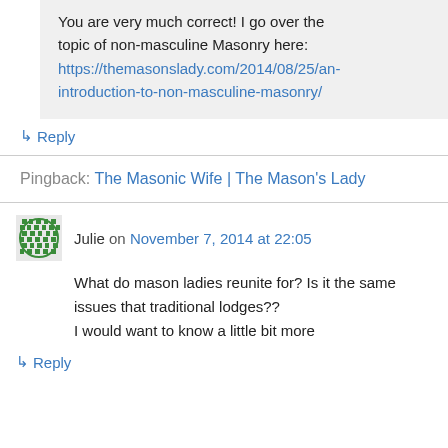You are very much correct! I go over the topic of non-masculine Masonry here: https://themasonslady.com/2014/08/25/an-introduction-to-non-masculine-masonry/
↳ Reply
Pingback: The Masonic Wife | The Mason's Lady
Julie on November 7, 2014 at 22:05
What do mason ladies reunite for? Is it the same issues that traditional lodges?? I would want to know a little bit more
↳ Reply